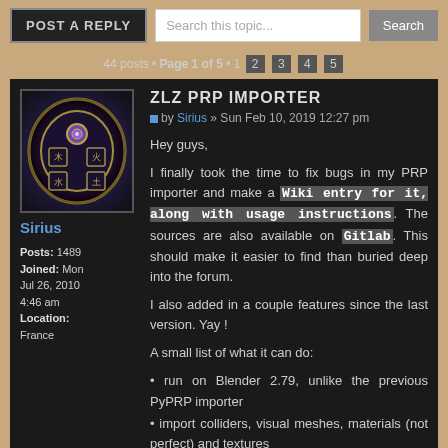POST A REPLY | Search this topic... | Search
44 posts • Page 1 of 5 • 1 2 3 4 5
[Figure (illustration): Forum avatar: circular emblem with purple/gold fantasy design]
Sirius
Posts: 1489
Joined: Mon Jul 26, 2010 4:46 am
Location: France
ZLZ PRP IMPORTER
by Sirius » Sun Feb 10, 2019 12:27 pm
Hey guys,
I finally took the time to fix bugs in my PRP importer and make a Wiki entry for it, along with usage instructions. The sources are also available on Gitlab. This should make it easier to find than buried deep into the forum.
I also added in a couple features since the last version. Yay !
A small list of what it can do:
run on Blender 2.79, unlike the previous PyPRP importer
import colliders, visual meshes, materials (not perfect) and textures
deduplicate vertices and create hard/smooth edges for visual meshes